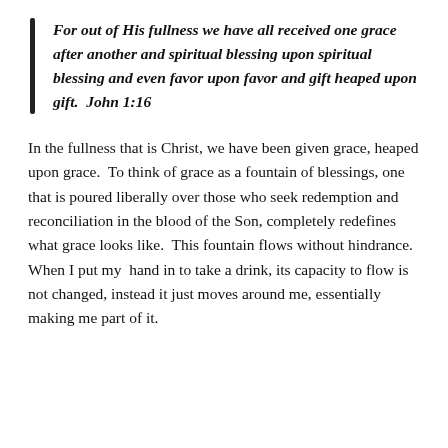For out of His fullness we have all received one grace after another and spiritual blessing upon spiritual blessing and even favor upon favor and gift heaped upon gift.  John 1:16
In the fullness that is Christ, we have been given grace, heaped upon grace.  To think of grace as a fountain of blessings, one that is poured liberally over those who seek redemption and reconciliation in the blood of the Son, completely redefines what grace looks like.  This fountain flows without hindrance.  When I put my  hand in to take a drink, its capacity to flow is not changed, instead it just moves around me, essentially making me part of it.